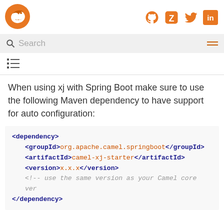[Figure (logo): Apache Camel logo - orange bird on white background]
[Figure (logo): Social media icons: GitHub, Zulip, Twitter, LinkedIn in orange]
Search
[Figure (other): Table of contents list icon]
When using xj with Spring Boot make sure to use the following Maven dependency to have support for auto configuration:
<dependency>
    <groupId>org.apache.camel.springboot</groupId>
    <artifactId>camel-xj-starter</artifactId>
    <version>x.x.x</version>
    <!-- use the same version as your Camel core ver
</dependency>